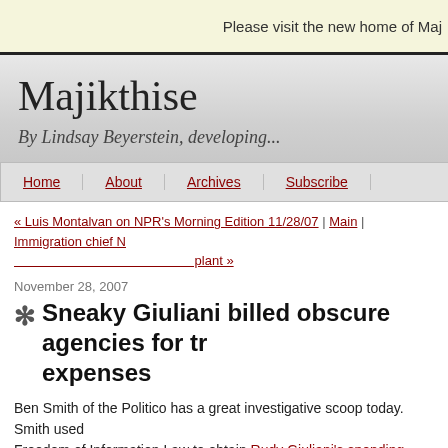Please visit the new home of Maj
Majikthise
By Lindsay Beyerstein, developing...
Home
About
Archives
Subscribe
« Luis Montalvan on NPR's Morning Edition 11/28/07 | Main | Immigration chief N plant »
November 28, 2007
Sneaky Giuliani billed obscure agencies for tr expenses
Ben Smith of the Politico has a great investigative scoop today. Smith used Freedom of Information Law to obtain Rudy Giuliani's spending records as m
The documents reveal that Giuliani racked up tens of thousands of dollars in personal business, and that his office billed these expenses to obscure city a
The expenses first surfaced as Giuliani's two terms as mayor of New to a close in 2001, when a city auditor stumbled across something u